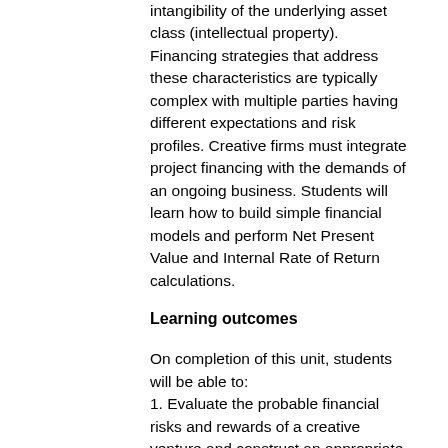intangibility of the underlying asset class (intellectual property). Financing strategies that address these characteristics are typically complex with multiple parties having different expectations and risk profiles. Creative firms must integrate project financing with the demands of an ongoing business. Students will learn how to build simple financial models and perform Net Present Value and Internal Rate of Return calculations.
Learning outcomes
On completion of this unit, students will be able to:
1. Evaluate the probable financial risks and rewards of a creative venture and construct an appropriate financial tool;
2. Analyse the financial implications of a creative venture for the creative firm;
3. Assess the risk and reward preferences of prospective investors in a creative venture;
4. Critically analyse the financial